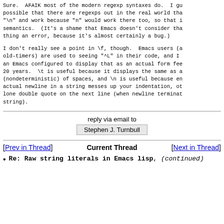Sure.  AFAIK most of the modern regexp syntaxes do.  I gu possible that there are regexps out in the real world tha "\n" and work because "n" would work there too, so that i semantics.  (It's a shame that Emacs doesn't consider tha thing an error, because it's almost certainly a bug.)
I don't really see a point in \f, though.  Emacs users (a old-timers) are used to seeing "^L" in their code, and I an Emacs configured to display that as an actual form fee 20 years.  \t is useful because it displays the same as a (nondeterministic) of spaces, and \n is useful because en actual newline in a string messes up your indentation, ot lone double quote on the next line (when newline terminat string).
reply via email to
Stephen J. Turnbull
[Prev in Thread]     Current Thread     [Next in Thread]
Re: Raw string literals in Emacs lisp, (continued)